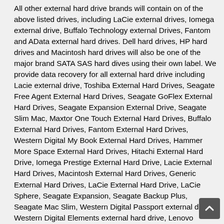All other external hard drive brands will contain on of the above listed drives, including LaCie external drives, Iomega external drive, Buffalo Technology external Drives, Fantom and AData external hard drives. Dell hard drives, HP hard drives and Macintosh hard drives will also be one of the major brand SATA SAS hard dives using their own label. We provide data recovery for all external hard drive including Lacie external drive, Toshiba External Hard Drives, Seagate Free Agent External Hard Drives, Seagate GoFlex External Hard Drives, Seagate Expansion External Drive, Seagate Slim Mac, Maxtor One Touch External Hard Drives, Buffalo External Hard Drives, Fantom External Hard Drives, Western Digital My Book External Hard Drives, Hammer More Space External Hard Drives, Hitachi External Hard Drive, Iomega Prestige External Hard Drive, Lacie External Hard Drives, Macintosh External Hard Drives, Generic External Hard Drives, LaCie External Hard Drive, LaCie Sphere, Seagate Expansion, Seagate Backup Plus, Seagate Mac Slim, Western Digital Passport external drive, Western Digital Elements external hard drive, Lenovo ThinkPad external hard drive, Toshiba Canvio external hard drive, Apple TIme Capsule, Transcend External Drive, Silicon Power External hard drive, Buffalo MiniStation External Drive , LaCie Rugged external Drive, HGST Touro Mobile, ioSafe Solo, SAMSUNG D3 Station . Lacie Porsche, Apricorn Aegis, G-Technology external, Patriot Gauntlet, Transcend StorJet, Edge Diskgo, Sony External, BusLink external drive, LaCie BladeJet, HP external, Micronet external. Verbatiun Store and Save, ClickFree, Hitachi G- Drive, Memorex Slim Drive, Imation LaCie Hard Disk ,LaCie Hard Disk MAX Buffalo DriveStation Duo,